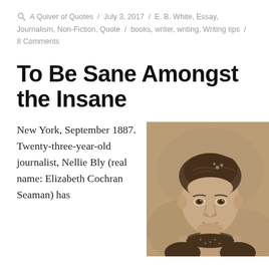A Quiver of Quotes / July 3, 2017 / E. B. White, Essay, Journalism, Non-Fiction, Quote / books, writer, writing, Writing tips / 8 Comments
To Be Sane Amongst the Insane
New York, September 1887. Twenty-three-year-old journalist, Nellie Bly (real name: Elizabeth Cochran Seaman) has
[Figure (photo): Sepia-toned portrait photograph of a young woman with upswept Victorian hairstyle, wearing a high-collared dark dress with small dots or embellishments.]